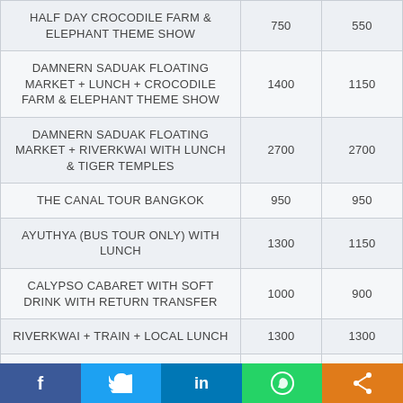| HALF DAY CROCODILE FARM & ELEPHANT THEME SHOW | 750 | 550 |
| DAMNERN SADUAK FLOATING MARKET + LUNCH + CROCODILE FARM & ELEPHANT THEME SHOW | 1400 | 1150 |
| DAMNERN SADUAK FLOATING MARKET + RIVERKWAI WITH LUNCH & TIGER TEMPLES | 2700 | 2700 |
| THE CANAL TOUR BANGKOK | 950 | 950 |
| AYUTHYA (BUS TOUR ONLY) WITH LUNCH | 1300 | 1150 |
| CALYPSO CABARET WITH SOFT DRINK WITH RETURN TRANSFER | 1000 | 900 |
| RIVERKWAI + TRAIN + LOCAL LUNCH | 1300 | 1300 |
| SIAM NIRAMITR SHOW ONLY WITH | 1500 | 1200 |